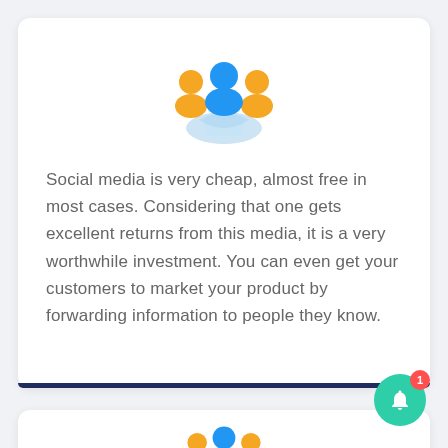[Figure (illustration): Icon showing three people silhouettes (two orange, one blue in center) above a light blue gear/settings shape, representing social media or team management]
Social media is very cheap, almost free in most cases. Considering that one gets excellent returns from this media, it is a very worthwhile investment. You can even get your customers to market your product by forwarding information to people they know.
[Figure (illustration): Icon showing three people silhouettes (two orange, one blue in center) above a light blue gear/settings shape, partially visible at bottom of page]